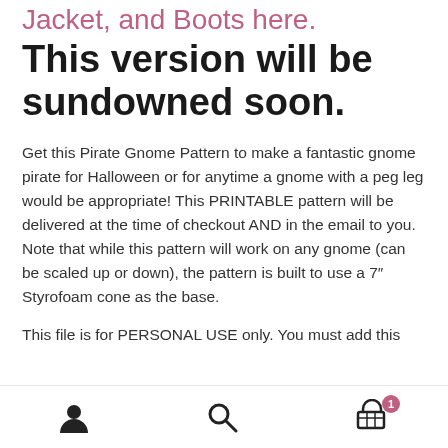Jacket, and Boots here.
This version will be sundowned soon.
Get this Pirate Gnome Pattern to make a fantastic gnome pirate for Halloween or for anytime a gnome with a peg leg would be appropriate! This PRINTABLE pattern will be delivered at the time of checkout AND in the email to you. Note that while this pattern will work on any gnome (can be scaled up or down), the pattern is built to use a 7″ Styrofoam cone as the base.
This file is for PERSONAL USE only. You must add this
User icon | Search icon | Cart icon with badge 1